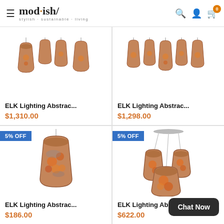mod·ish/ stylish·sustainable·living
[Figure (photo): ELK Lighting Abstract pendant lamp multi-light set, decorative glass shades with orange floral pattern]
ELK Lighting Abstrac...
$1,310.00
[Figure (photo): ELK Lighting Abstract pendant lamp 5-light set, decorative glass shades with orange floral pattern]
ELK Lighting Abstrac...
$1,298.00
[Figure (photo): ELK Lighting Abstract single pendant lamp, decorative glass shade with orange floral pattern, 5% OFF badge]
ELK Lighting Abstrac...
$186.00
[Figure (photo): ELK Lighting Abstract 3-light pendant cluster, decorative glass shades with orange floral pattern, 5% OFF badge]
ELK Lighting Abstra
$622.00
Chat Now